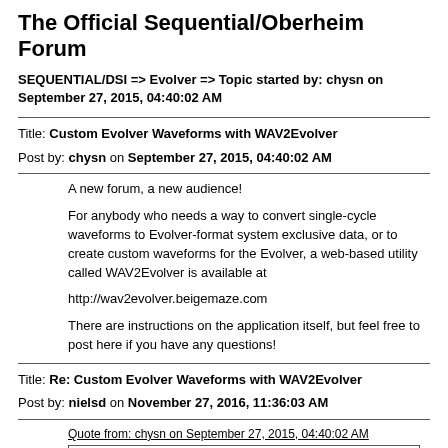The Official Sequential/Oberheim Forum
SEQUENTIAL/DSI => Evolver => Topic started by: chysn on September 27, 2015, 04:40:02 AM
Title: Custom Evolver Waveforms with WAV2Evolver
Post by: chysn on September 27, 2015, 04:40:02 AM
A new forum, a new audience!

For anybody who needs a way to convert single-cycle waveforms to Evolver-format system exclusive data, or to create custom waveforms for the Evolver, a web-based utility called WAV2Evolver is available at

http://wav2evolver.beigemaze.com

There are instructions on the application itself, but feel free to post here if you have any questions!
Title: Re: Custom Evolver Waveforms with WAV2Evolver
Post by: nielsd on November 27, 2016, 11:36:03 AM
Quote from: chysn on September 27, 2015, 04:40:02 AM
There are instructions on the application itself, but feel free to post here if you have any questions!